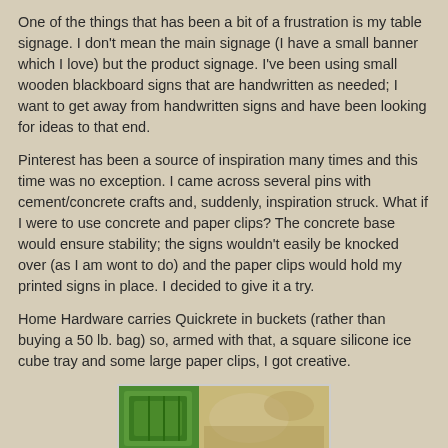One of the things that has been a bit of a frustration is my table signage. I don't mean the main signage (I have a small banner which I love) but the product signage. I've been using small wooden blackboard signs that are handwritten as needed; I want to get away from handwritten signs and have been looking for ideas to that end.
Pinterest has been a source of inspiration many times and this time was no exception. I came across several pins with cement/concrete crafts and, suddenly, inspiration struck. What if I were to use concrete and paper clips? The concrete base would ensure stability; the signs wouldn't easily be knocked over (as I am wont to do) and the paper clips would hold my printed signs in place. I decided to give it a try.
Home Hardware carries Quickrete in buckets (rather than buying a 50 lb. bag) so, armed with that, a square silicone ice cube tray and some large paper clips, I got creative.
[Figure (photo): A photo showing craft supplies including what appears to be a green silicone ice cube tray and other materials for making concrete signs with paper clips.]